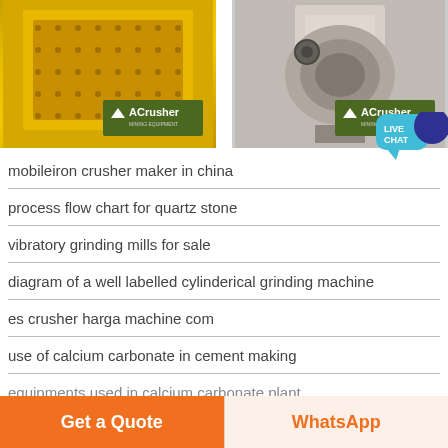[Figure (photo): Two industrial crusher machines side by side. Left: yellow ACrusher impact crusher. Right: gray ACrusher cone crusher. Both show ACrusher logo badge.]
mobileiron crusher maker in china
process flow chart for quartz stone
vibratory grinding mills for sale
diagram of a well labelled cylinderical grinding machine
es crusher harga machine com
use of calcium carbonate in cement making
equipments used in calcium carbonate plant
Get a Quote
WhatsApp